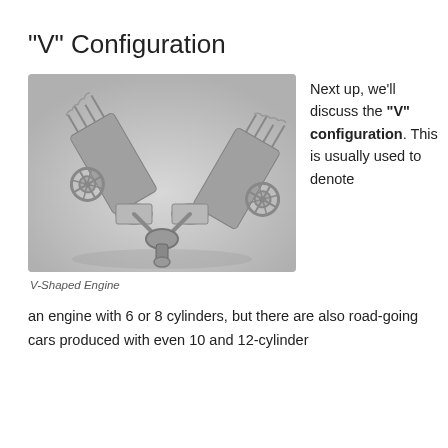“V” Configuration
[Figure (photo): 3D render of a V-shaped engine block showing two banks of cylinders arranged in a V configuration, with visible pistons, crankshaft, valves, and gear mechanisms. The engine is rendered in metallic gray tones against a light background.]
V-Shaped Engine
Next up, we’ll discuss the “V” configuration. This is usually used to denote an engine with 6 or 8 cylinders, but there are also road-going cars produced with even 10 and 12-cylinder engines. At this configuration. The “V” formation...